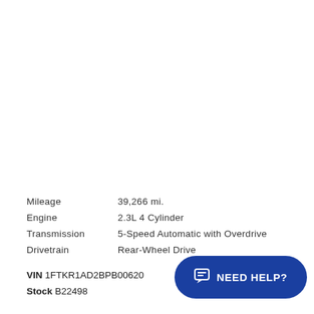| Label | Value |
| --- | --- |
| Mileage | 39,266 mi. |
| Engine | 2.3L 4 Cylinder |
| Transmission | 5-Speed Automatic with Overdrive |
| Drivetrain | Rear-Wheel Drive |
VIN 1FTKR1AD2BPB00620
Stock B22498